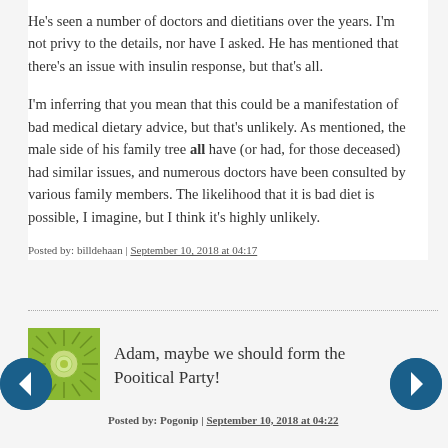He's seen a number of doctors and dietitians over the years. I'm not privy to the details, nor have I asked. He has mentioned that there's an issue with insulin response, but that's all.
I'm inferring that you mean that this could be a manifestation of bad medical dietary advice, but that's unlikely. As mentioned, the male side of his family tree all have (or had, for those deceased) had similar issues, and numerous doctors have been consulted by various family members. The likelihood that it is bad diet is possible, I imagine, but I think it's highly unlikely.
Posted by: billdehaan | September 10, 2018 at 04:17
Adam, maybe we should form the Pooitical Party!
Posted by: Pogonip | September 10, 2018 at 04:22